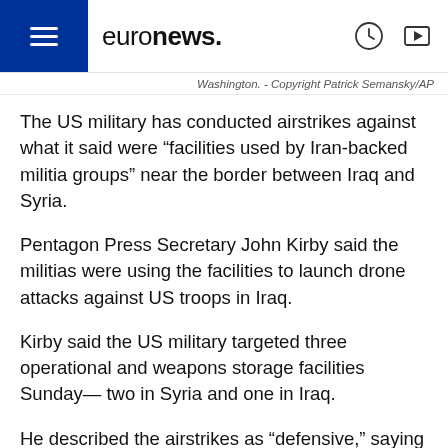euronews.
Washington. - Copyright Patrick Semansky/AP
The US military has conducted airstrikes against what it said were “facilities used by Iran-backed militia groups” near the border between Iraq and Syria.
Pentagon Press Secretary John Kirby said the militias were using the facilities to launch drone attacks against US troops in Iraq.
Kirby said the US military targeted three operational and weapons storage facilities Sunday— two in Syria and one in Iraq.
He described the airstrikes as “defensive,” saying they were launched in response to the attacks by Iran-backed groups.